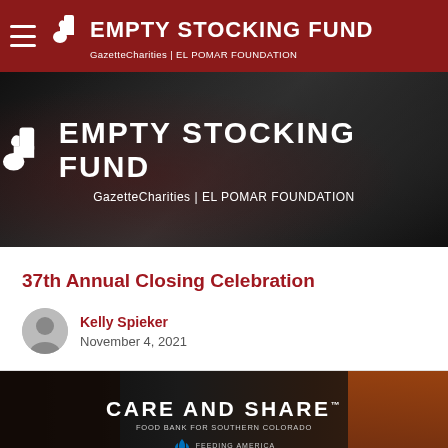EMPTY STOCKING FUND — GazetteCharities | EL POMAR FOUNDATION
[Figure (photo): Hero banner image with Empty Stocking Fund logo — GazetteCharities | EL POMAR FOUNDATION — displayed over a dark interior background]
37th Annual Closing Celebration
Kelly Spieker
November 4, 2021
[Figure (photo): Dark photo showing a person wearing a Care and Share Food Bank for Southern Colorado shirt; Care and Share logo and Feeding America logo visible]